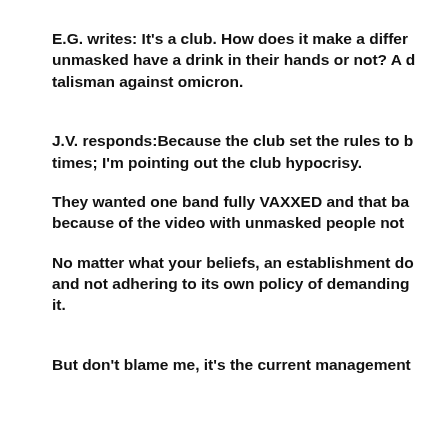E.G. writes: It's a club. How does it make a difference if the unmasked have a drink in their hands or not? A drink is not a talisman against omicron.
J.V. responds:Because the club set the rules to be broken at times; I'm pointing out the club hypocrisy.
They wanted one band fully VAXXED and that band got fired because of the video with unmasked people not
No matter what your beliefs, an establishment doing that and not adhering to its own policy of demanding it.
But don't blame me, it's the current management